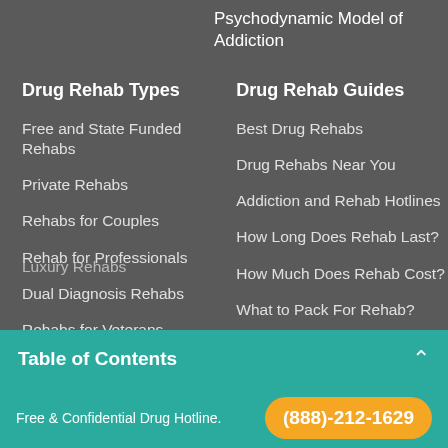Psychodynamic Model of Addiction
Drug Rehab Types
Drug Rehab Guides
Free and State Funded Rehabs
Private Rehabs
Rehabs for Couples
Rehab for Professionals
Dual Diagnosis Rehabs
Rehabs for Veterans
Holistic Rehabs
Best Drug Rehabs
Drug Rehabs Near You
Addiction and Rehab Hotlines
How Long Does Rehab Last?
How Much Does Rehab Cost?
What to Pack For Rehab?
Table of Contents
Free & Confidential Drug Hotline.  (888)-212-1629